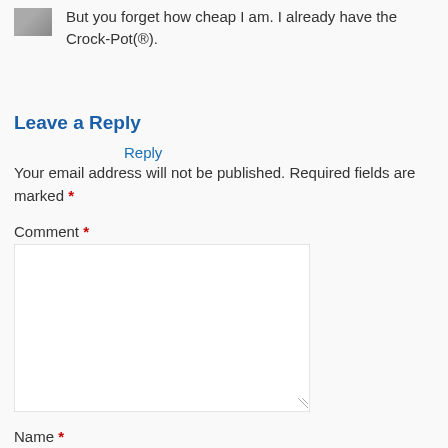But you forget how cheap I am. I already have the Crock-Pot(®).
Reply
Leave a Reply
Your email address will not be published. Required fields are marked *
Comment *
Name *